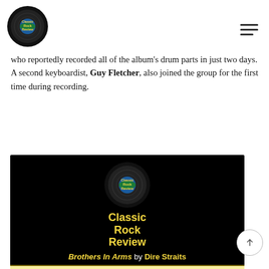Classic Rock Review
who reportedly recorded all of the album's drum parts in just two days. A second keyboardist, Guy Fletcher, also joined the group for the first time during recording.
[Figure (other): Classic Rock Review album info card for Brothers In Arms by Dire Straits, with logo, album details, and Side One / Side Two table headers on black background with yellow text]
| Side One | Side Two |
| --- | --- |